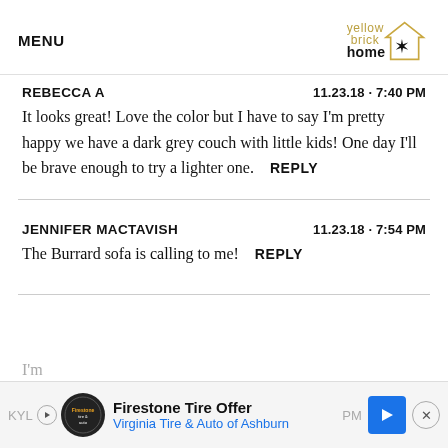MENU | yellow brick home logo
REBECCA A   11.23.18 · 7:40 PM
It looks great! Love the color but I have to say I'm pretty happy we have a dark grey couch with little kids! One day I'll be brave enough to try a lighter one.  REPLY
JENNIFER MACTAVISH   11.23.18 · 7:54 PM
The Burrard sofa is calling to me!  REPLY
KYL... PM ×  Firestone Tire Offer  Virginia Tire & Auto of Ashburn  I'm...